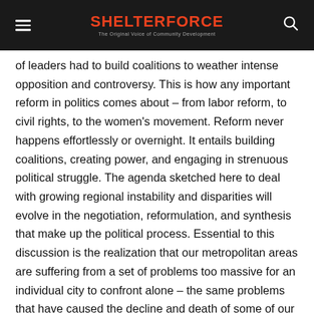SHELTERFORCE — The Original Voice of Community Development
of leaders had to build coalitions to weather intense opposition and controversy. This is how any important reform in politics comes about – from labor reform, to civil rights, to the women's movement. Reform never happens effortlessly or overnight. It entails building coalitions, creating power, and engaging in strenuous political struggle. The agenda sketched here to deal with growing regional instability and disparities will evolve in the negotiation, reformulation, and synthesis that make up the political process. Essential to this discussion is the realization that our metropolitan areas are suffering from a set of problems too massive for an individual city to confront alone – the same problems that have caused the decline and death of some of our largest urban centers. Unless we concentrate on finding new solutions, we can expect no better outcome in the future.